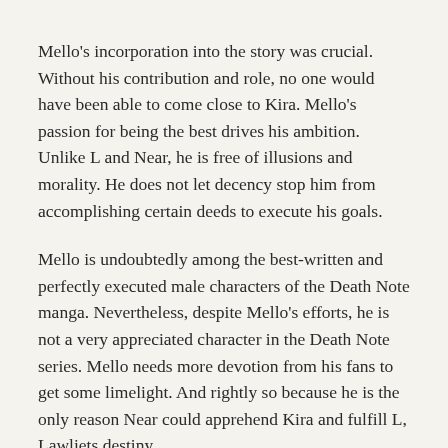Mello's incorporation into the story was crucial. Without his contribution and role, no one would have been able to come close to Kira. Mello's passion for being the best drives his ambition.  Unlike L and Near, he is free of illusions and morality. He does not let decency stop him from accomplishing certain deeds to execute his goals.
Mello is undoubtedly among the best-written and perfectly executed male characters of the Death Note manga. Nevertheless, despite Mello's efforts, he is not a very appreciated character in the Death Note series. Mello needs more devotion from his fans to get some limelight. And rightly so because he is the only reason Near could apprehend Kira and fulfill L, Lawliets destiny.